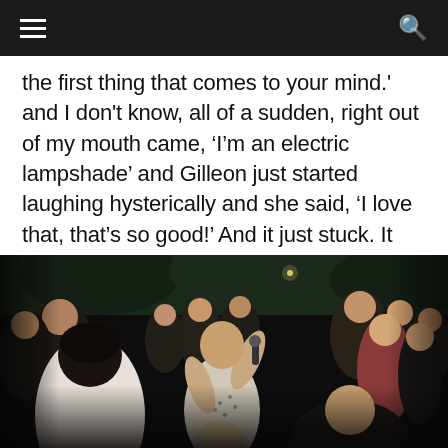[Navigation bar with hamburger menu and search icon]
the first thing that comes to your mind.' and I don't know, all of a sudden, right out of my mouth came, ‘I’m an electric lampshade’ and Gilleon just started laughing hysterically and she said, ‘I love that, that’s so good!’ And it just stuck. It just popped out of my mouth, spontaneously. I don’t know where it came from.
[Figure (photo): A bald man holding a microphone performing or speaking in the middle of a crowd at an outdoor nighttime event. Audience members surround him, some with hands raised.]